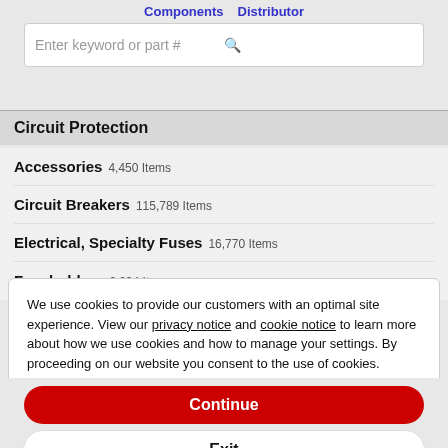Components  Distributor
Enter keyword or part #
Circuit Protection
Accessories  4,450 Items
Circuit Breakers  115,789 Items
Electrical, Specialty Fuses  16,770 Items
Fuseholders  6,094 Items
We use cookies to provide our customers with an optimal site experience. View our privacy notice and cookie notice to learn more about how we use cookies and how to manage your settings. By proceeding on our website you consent to the use of cookies.
Continue
Exit
Privacy Notice